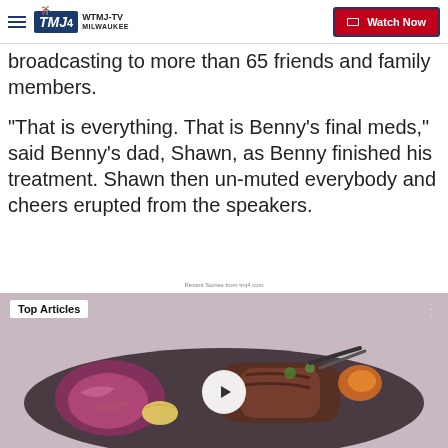WTMJ-TV MILWAUKEE — Watch Now
broadcasting to more than 65 friends and family members.
"That is everything. That is Benny's final meds," said Benny's dad, Shawn, as Benny finished his treatment. Shawn then un-muted everybody and cheers erupted from the speakers.
Recent Stories from tmj4.com
[Figure (photo): Food photo showing a dark plate with grilled/roasted meat and red cabbage/onion garnish, with a play button overlay. Labeled 'Top Articles'.]